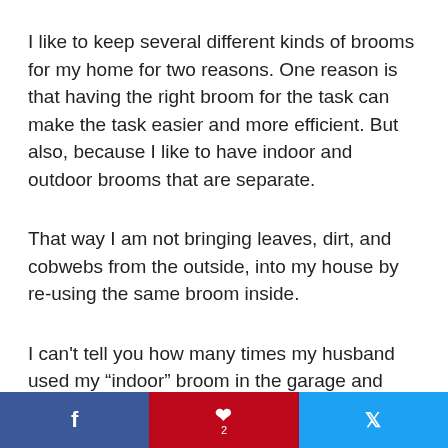I like to keep several different kinds of brooms for my home for two reasons. One reason is that having the right broom for the task can make the task easier and more efficient. But also, because I like to have indoor and outdoor brooms that are separate.
That way I am not bringing leaves, dirt, and cobwebs from the outside, into my house by re-using the same broom inside.
I can’t tell you how many times my husband used my “indoor” broom in the garage and made it all
f   ❤ 2   